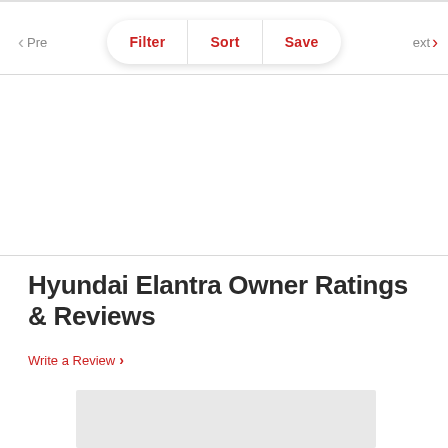Filter | Sort | Save
Hyundai Elantra Owner Ratings & Reviews
Write a Review >
[Figure (other): Gray placeholder box, likely an advertisement or image area]